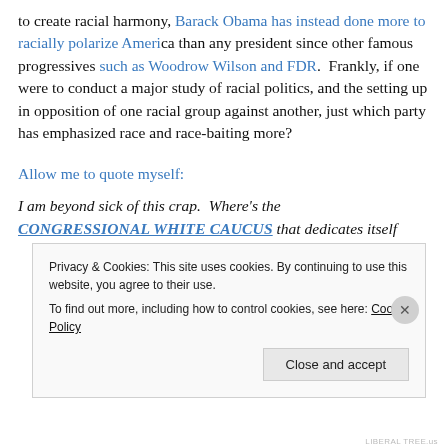to create racial harmony, Barack Obama has instead done more to racially polarize America than any president since other famous progressives such as Woodrow Wilson and FDR.  Frankly, if one were to conduct a major study of racial politics, and the setting up in opposition of one racial group against another, just which party has emphasized race and race-baiting more?
Allow me to quote myself:
I am beyond sick of this crap.  Where's the CONGRESSIONAL WHITE CAUCUS that dedicates itself
Privacy & Cookies: This site uses cookies. By continuing to use this website, you agree to their use.
To find out more, including how to control cookies, see here: Cookie Policy